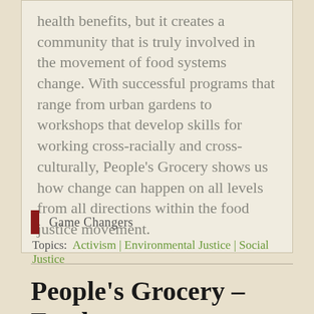health benefits, but it creates a community that is truly involved in the movement of food systems change. With successful programs that range from urban gardens to workshops that develop skills for working cross-racially and cross-culturally, People's Grocery shows us how change can happen on all levels from all directions within the food justice movement.
Game Changers
Topics: Activism | Environmental Justice | Social Justice
People's Grocery – Food